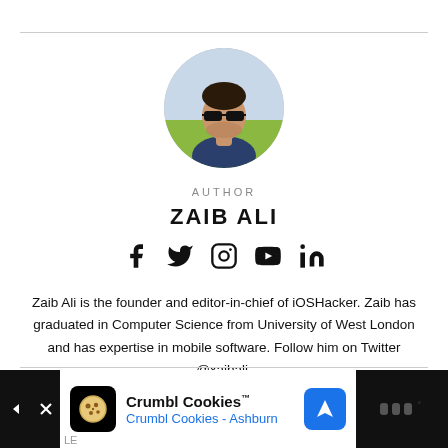[Figure (photo): Circular profile photo of Zaib Ali wearing sunglasses, outdoors]
AUTHOR
ZAIB ALI
[Figure (infographic): Social media icons: Facebook, Twitter, Instagram, YouTube, LinkedIn]
Zaib Ali is the founder and editor-in-chief of iOSHacker. Zaib has graduated in Computer Science from University of West London and has expertise in mobile software. Follow him on Twitter @xaibali.
[Figure (infographic): Advertisement banner for Crumbl Cookies - Crumbl Cookies Ashburn]